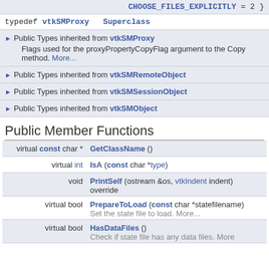CHOOSE_FILES_EXPLICITLY = 2 }
typedef vtkSMProxy  Superclass
Public Types inherited from vtkSMProxy — Flags used for the proxyPropertyCopyFlag argument to the Copy method. More...
Public Types inherited from vtkSMRemoteObject
Public Types inherited from vtkSMSessionObject
Public Types inherited from vtkSMObject
Public Member Functions
| Type | Function |
| --- | --- |
| virtual const char * | GetClassName () |
| virtual int | IsA (const char *type) |
| void | PrintSelf (ostream &os, vtkIndent indent) override |
| virtual bool | PrepareToLoad (const char *statefilename) — Set the state file to load. More... |
| virtual bool | HasDataFiles () — Check if state file has any data files. More... |